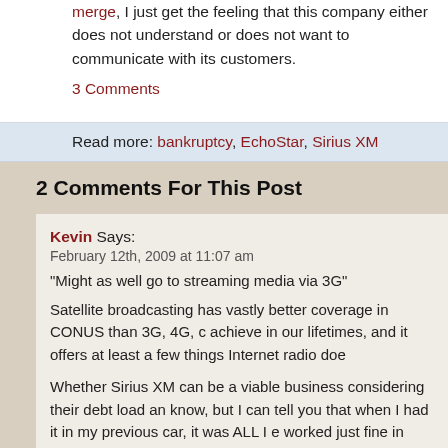merge, I just get the feeling that this company either does not understand or does not want to communicate with its customers.
3 Comments
Read more: bankruptcy, EchoStar, Sirius XM
2 Comments For This Post
Kevin Says:
February 12th, 2009 at 11:07 am
“Might as well go to streaming media via 3G”
Satellite broadcasting has vastly better coverage in CONUS than 3G, 4G, c achieve in our lifetimes, and it offers at least a few things Internet radio doe
Whether Sirius XM can be a viable business considering their debt load an know, but I can tell you that when I had it in my previous car, it was ALL I e worked just fine in areas where my cell phone did not. And the stations I lis things that are not available on Internet radio — CNBC, EPSN, Jimmy Buff